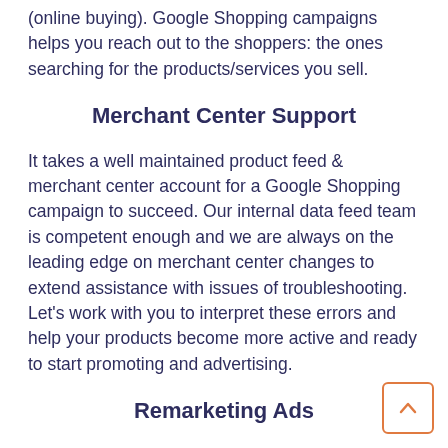(online buying). Google Shopping campaigns helps you reach out to the shoppers: the ones searching for the products/services you sell.
Merchant Center Support
It takes a well maintained product feed & merchant center account for a Google Shopping campaign to succeed. Our internal data feed team is competent enough and we are always on the leading edge on merchant center changes to extend assistance with issues of troubleshooting. Let's work with you to interpret these errors and help your products become more active and ready to start promoting and advertising.
Remarketing Ads
Remarketing is a vital piece of your PPC strategy and